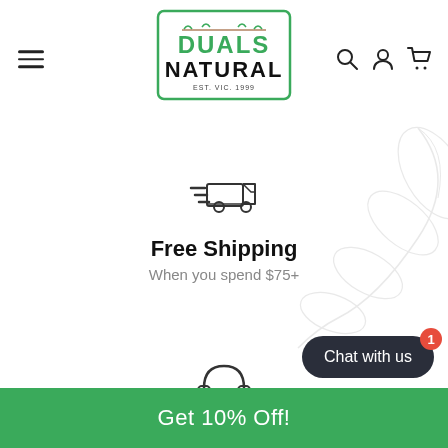[Figure (logo): Duals Natural logo with green border rectangle, green leaf decorations, green text DUALS, black text NATURAL, EST. VIC. 1999]
[Figure (illustration): Hamburger menu icon (three horizontal lines) on the left of the header]
[Figure (illustration): Search, user account, and shopping cart icons on the right of the header]
[Figure (illustration): Light gray leaf/branch decorative illustration in the top-right background]
[Figure (illustration): Delivery truck icon with speed lines]
Free Shipping
When you spend $75+
[Figure (illustration): Headset / customer support icon]
Call Us Anytime
Get 10% Off!
Chat with us